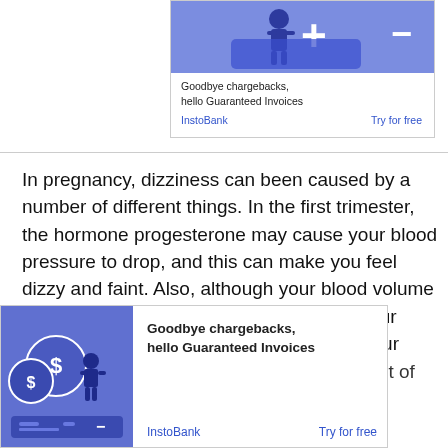[Figure (illustration): Advertisement banner: Goodbye chargebacks, hello Guaranteed Invoices - InstoBank, Try for free. Blue background with plus and minus signs.]
In pregnancy, dizziness can been caused by a number of different things. In the first trimester, the hormone progesterone may cause your blood pressure to drop, and this can make you feel dizzy and faint. Also, although your blood volume increases by around 40% in pregnancy, your blood vessels will be more lax, meaning your blood flow may become more sluggish ... ort of oxygen,
[Figure (illustration): Bottom advertisement banner: Goodbye chargebacks, hello Guaranteed Invoices - InstoBank, Try for free. Features a man with coins/dollar signs illustration on blue background.]